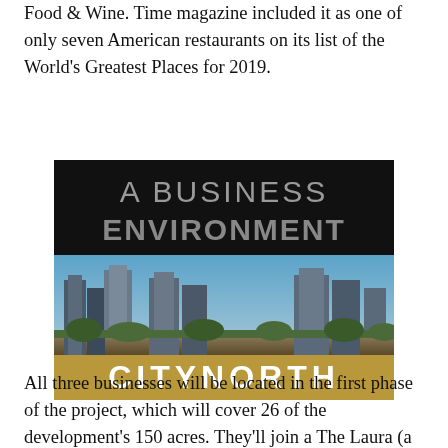Food & Wine. Time magazine included it as one of only seven American restaurants on its list of the World's Greatest Places for 2019.
[Figure (photo): A Business Environment CityNorth promotional image showing a city skyline with office buildings under a blue sky, with 'A BUSINESS ENVIRONMENT' text on dark background at top and 'CITYNORTH' text on gold background at bottom.]
All three businesses will be located in the first phase of the project, which will cover 26 of the development's 150 acres. They'll join a The Laura (a 360-unit apartment